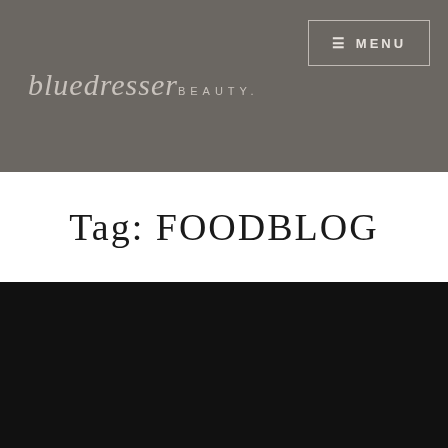bluedresserBEAUTY.
≡ MENU
Tag: foodblog